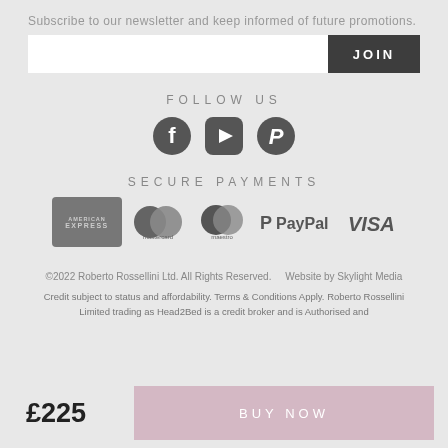Subscribe to our newsletter and keep informed of future promotions.
[Figure (screenshot): Email input field with JOIN button]
FOLLOW US
[Figure (infographic): Social media icons: Facebook, YouTube, Pinterest]
SECURE PAYMENTS
[Figure (infographic): Payment logos: American Express, Mastercard, Maestro, PayPal, Visa]
©2022 Roberto Rossellini Ltd. All Rights Reserved.      Website by Skylight Media
Credit subject to status and affordability. Terms & Conditions Apply. Roberto Rossellini Limited trading as Head2Bed is a credit broker and is Authorised and
£225
BUY NOW